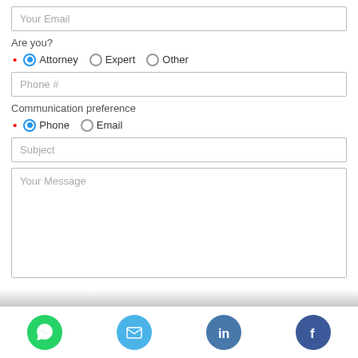Your Email
Are you?
Attorney (selected), Expert, Other
Phone #
Communication preference
Phone (selected), Email
Subject
Your Message
[Figure (infographic): Footer bar with four social media icon buttons: WhatsApp (green), Email (blue), LinkedIn (steel blue), Facebook (dark blue)]